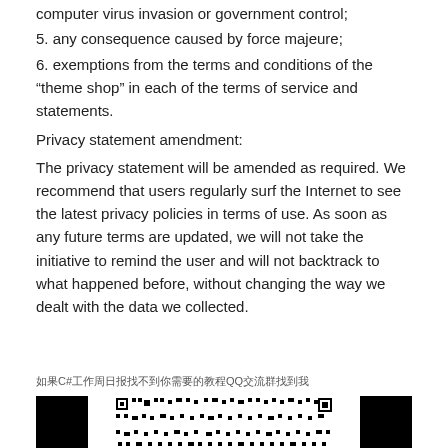computer virus invasion or government control;
5. any consequence caused by force majeure;
6. exemptions from the terms and conditions of the “theme shop” in each of the terms of service and statements.
Privacy statement amendment:
The privacy statement will be amended as required. We recommend that users regularly surf the Internet to see the latest privacy policies in terms of use. As soon as any future terms are updated, we will not take the initiative to remind the user and will not backtrack to what happened before, without changing the way we dealt with the data we collected.
如果C#工作周日报找不到你需要的教程QQ交流群找到我
[Figure (other): QR code with black corner squares and central pattern]